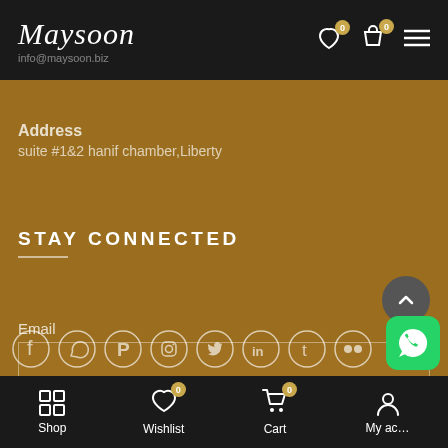Maysoon
info@maysoon.biz
Address
Suite #1&2 hanif chamber,Liberty
STAY CONNECTED
Email
[Figure (screenshot): Email input field and SUBSCRIBE button]
[Figure (infographic): Social media icons: Facebook, WhatsApp, Pinterest, Instagram, Twitter, LinkedIn, Tumblr, Flickr]
Shop  Wishlist 0  Cart 0  My account